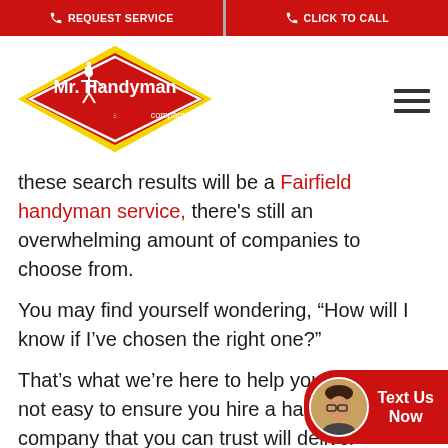REQUEST SERVICE | CLICK TO CALL
[Figure (logo): Mr. Handyman logo - red diamond shape with yellow border, handyman figure, text 'Mr. Handyman' in white, 'a neighborly company' below]
these search results will be a Fairfield handyman service, there's still an overwhelming amount of companies to choose from.
You may find yourself wondering, “How will I know if I’ve chosen the right one?”
That’s what we’re here to help you with. It’s not easy to ensure you hire a handyman company that you can trust will deliver excellent workmanship, helpful customer service, but there are steps you can